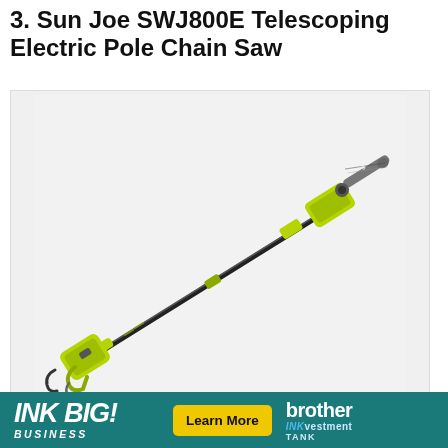3. Sun Joe SWJ800E Telescoping Electric Pole Chain Saw
[Figure (photo): Sun Joe SWJ800E Telescoping Electric Pole Chain Saw product photo on light gray/white background. The pole saw is shown diagonally from lower-left to upper-right, featuring a long black telescoping pole with a yellow-green motorized chainsaw head at the top right and a yellow-green handle/trigger assembly at the bottom left.]
[Figure (logo): Advertisement banner for Brother INKvestment Tank. Left side shows 'INK BIG! BUSINESS' text in white italic on teal background. Center has a yellow 'Learn More' button. Right side shows 'brother INKvestment TANK' logo in white and blue on teal background.]